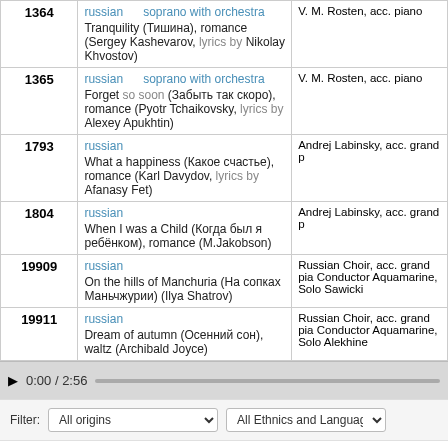| # | Info | Performer |
| --- | --- | --- |
| 1364 | russian / soprano with orchestra
Tranquility (Тишина), romance (Sergey Kashevarov, lyrics by Nikolay Khvostov) | V. M. Rosten, acc. piano |
| 1365 | russian / soprano with orchestra
Forget so soon (Забыть так скоро), romance (Pyotr Tchaikovsky, lyrics by Alexey Apukhtin) | V. M. Rosten, acc. piano |
| 1793 | russian
What a happiness (Какое счастье), romance (Karl Davydov, lyrics by Afanasy Fet) | Andrej Labinsky, acc. grand p |
| 1804 | russian
When I was a Child (Когда был я ребёнком), romance (M.Jakobson) | Andrej Labinsky, acc. grand p |
| 19909 | russian
On the hills of Manchuria (На сопках Маньчжурии) (Ilya Shatrov) | Russian Choir, acc. grand pia Conductor Aquamarine, Solo Sawicki |
| 19911 | russian
Dream of autumn (Осенний сон), waltz (Archibald Joyce) | Russian Choir, acc. grand pia Conductor Aquamarine, Solo Alekhine |
0:00 / 2:56
Filter: All origins / All Ethnics and Languages
About this site • Terms of Use • Privacy Statement • Links • Contact Us • Guestbook